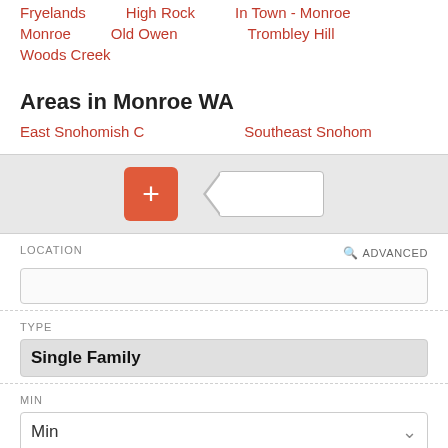Fryefoods
High Rock
In Town - Monroe
Monroe
Old Owen
Trombley Hill
Woods Creek
Areas in Monroe WA
East Snohomish C
Southeast Snohom
[Figure (screenshot): Toolbar with orange plus button and a back/arrow button]
LOCATION
ADVANCED
TYPE
Single Family
MIN
Min
MAX